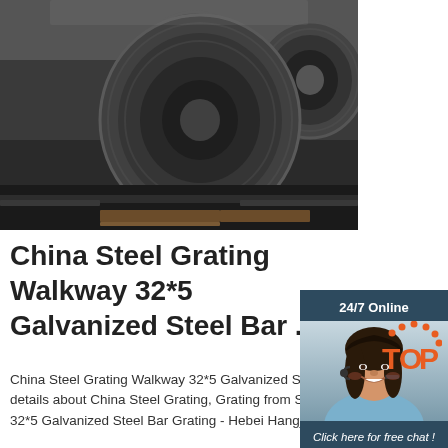[Figure (photo): Industrial steel coils/rolls stacked in a factory warehouse, shown in dark metallic tones.]
[Figure (photo): Customer service agent (woman with headset smiling) with '24/7 Online' header, 'Click here for free chat!' text, and an orange 'QUOTATION' button.]
China Steel Grating Walkway 32*5 Galvanized Steel Bar ...
China Steel Grating Walkway 32*5 Galvanized Steel Bar Grating, Find details about China Steel Grating, Grating from Steel Grating Walkway 32*5 Galvanized Steel Bar Grating - Hebei Hangjin